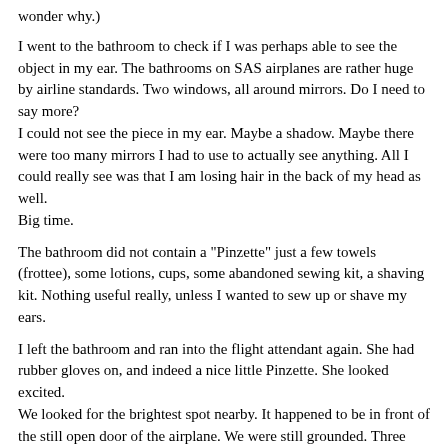wonder why.)
I went to the bathroom to check if I was perhaps able to see the object in my ear. The bathrooms on SAS airplanes are rather huge by airline standards. Two windows, all around mirrors. Do I need to say more?
I could not see the piece in my ear. Maybe a shadow. Maybe there were too many mirrors I had to use to actually see anything. All I could really see was that I am losing hair in the back of my head as well.
Big time.
The bathroom did not contain a "Pinzette" just a few towels (frottee), some lotions, cups, some abandoned sewing kit, a shaving kit. Nothing useful really, unless I wanted to sew up or shave my ears.
I left the bathroom and ran into the flight attendant again. She had rubber gloves on, and indeed a nice little Pinzette. She looked excited.
We looked for the brightest spot nearby. It happened to be in front of the still open door of the airplane. We were still grounded. Three airport workers spoke with the purser of the flight, a woman in her 50's maybe, wearing a butter colored dress that somehow matched the idea that butter might have been one of her favorite food groups.